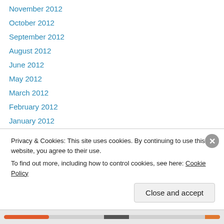November 2012
October 2012
September 2012
August 2012
June 2012
May 2012
March 2012
February 2012
January 2012
December 2011
September 2011
August 2011
July 2011
Privacy & Cookies: This site uses cookies. By continuing to use this website, you agree to their use. To find out more, including how to control cookies, see here: Cookie Policy
Close and accept